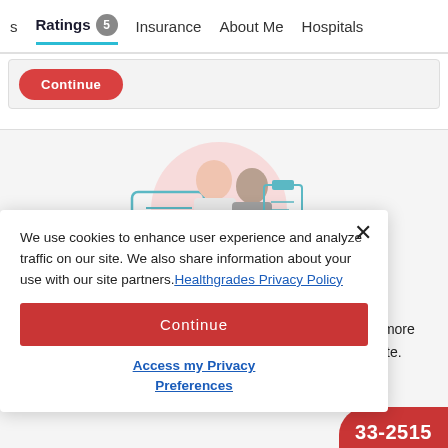s   Ratings 5   Insurance   About Me   Hospitals
[Figure (screenshot): Red Continue button partially visible in a light gray card area]
[Figure (illustration): Doctor and patient sitting together with speech bubble and clipboard with clock icons, pink circle background]
We use cookies to enhance user experience and analyze traffic on our site. We also share information about your use with our site partners. Healthgrades Privacy Policy
Continue
Access my Privacy Preferences
reach more a minute.
33-2515